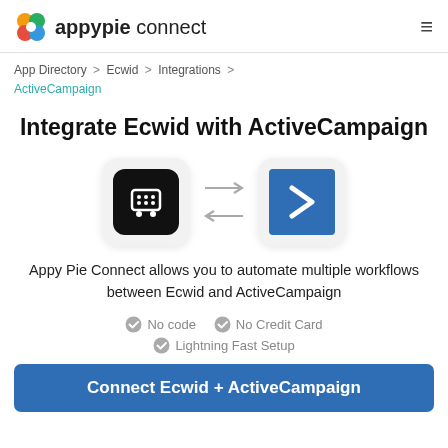appypie connect
App Directory > Ecwid > Integrations > ActiveCampaign
Integrate Ecwid with ActiveCampaign
[Figure (illustration): Ecwid app icon (black rounded square with shopping cart) and ActiveCampaign app icon (blue square with white chevron), connected by bidirectional arrows]
Appy Pie Connect allows you to automate multiple workflows between Ecwid and ActiveCampaign
No code
No Credit Card
Lightning Fast Setup
Connect Ecwid + ActiveCampaign